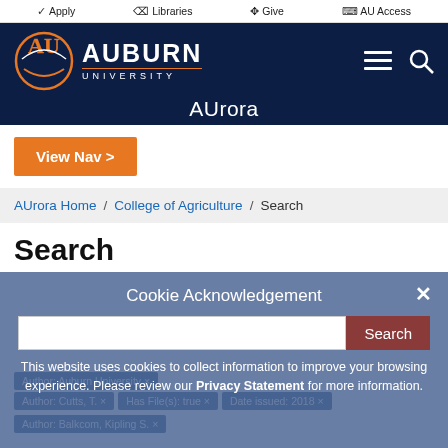✓ Apply  ☰ Libraries  ⊞ Give  ☐ AU Access
[Figure (logo): Auburn University logo with AU monogram in orange and white on navy background, with text AUBURN UNIVERSITY]
AUrora
View Nav >
AUrora Home / College of Agriculture / Search
Search
Cookie Acknowledgement
This website uses cookies to collect information to improve your browsing experience. Please review our Privacy Statement for more information.
Author: Auburn University × Author: Cutts, T. × Has File(s): true × Date issued: 2018 × Author: Balkcom, Kipling S. ×